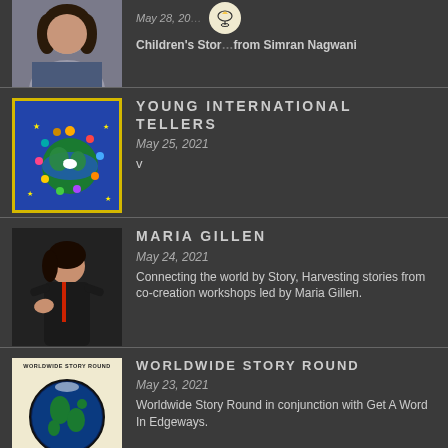[Figure (photo): Partial view of a woman's photo at top left, with a lamp icon and date May 28, 20... (truncated), and text Children's Stories from Simran Nagwani]
Children's Stories from Simran Nagwani
[Figure (illustration): Colorful illustration of children of diverse cultures standing around a globe, with yellow border]
YOUNG INTERNATIONAL TELLERS
May 25, 2021
v
[Figure (photo): Photo of Maria Gillen speaking or performing on stage]
MARIA GILLEN
May 24, 2021
Connecting the world by Story, Harvesting stories from co-creation workshops led by Maria Gillen.
[Figure (illustration): Worldwide Story Round image with white background, globe in black circle, text WORLDWIDE STORY ROUND at top and bottom]
WORLDWIDE STORY ROUND
May 23, 2021
Worldwide Story Round in conjunction with Get A Word In Edgeways.